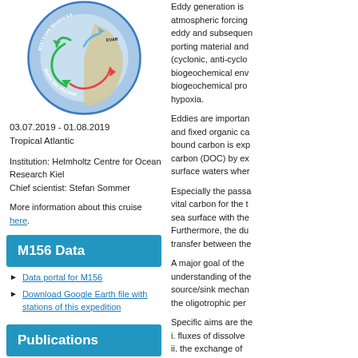[Figure (logo): Circular expedition logo for M157 EVAR, Mindelo 4.8 - Walvis Bay 16.6.9102, showing ocean circulation arrows and a coastal map]
03.07.2019 - 01.08.2019
Tropical Atlantic
Institution: Helmholtz Centre for Ocean Research Kiel
Chief scientist: Stefan Sommer
More information about this cruise here.
M156 Data
Data portal for M156
Download Google Earth file with stations of this expedition
Publications
Eddy generation is atmospheric forcing eddy and subsequent porting material and (cyclonic, anti-cyclo biogeochemical env biogeochemical pro hypoxia.
Eddies are importan and fixed organic ca bound carbon is exp carbon (DOC) by ex surface waters wher
Especially the passa vital carbon for the t sea surface with the Furthermore, the du transfer between the
A major goal of the understanding of the source/sink mechan the oligotrophic per
Specific aims are the i. fluxes of dissolve ii. the exchange of